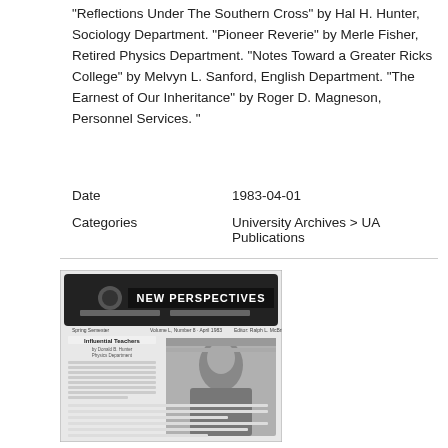"Reflections Under The Southern Cross" by Hal H. Hunter, Sociology Department. "Pioneer Reverie" by Merle Fisher, Retired Physics Department. "Notes Toward a Greater Ricks College" by Melvyn L. Sanford, English Department. "The Earnest of Our Inheritance" by Roger D. Magneson, Personnel Services. "
Date          1983-04-01
Categories University Archives > UA Publications
[Figure (photo): Thumbnail image of a newsletter front page titled 'NEW PERSPECTIVES', a Ricks College Faculty Publication, Spring Semester, Volume L, Number 8, April 1983, Editor Ralph L. McBride. Shows an article 'Influential Teachers' with a photograph of an older man seated.]